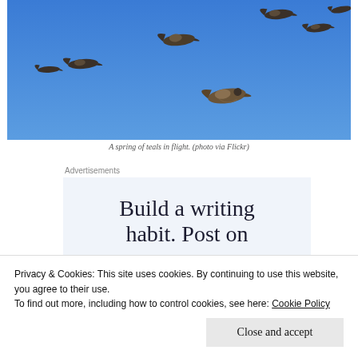[Figure (photo): A flock of teals (ducks) in flight against a clear blue sky. Seven birds are visible in various positions mid-flight.]
A spring of teals in flight. (photo via Flickr)
Advertisements
[Figure (screenshot): Advertisement box with light blue background showing text: 'Build a writing habit. Post on']
Privacy & Cookies: This site uses cookies. By continuing to use this website, you agree to their use.
To find out more, including how to control cookies, see here: Cookie Policy
Close and accept